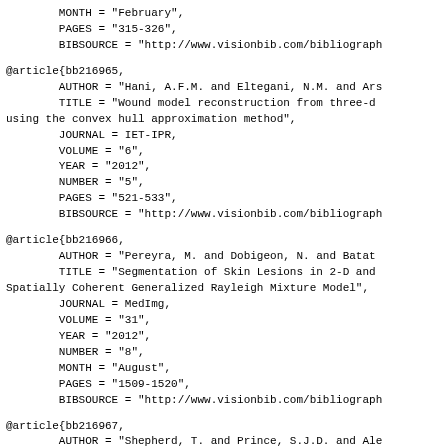MONTH = "February",
        PAGES = "315-326",
        BIBSOURCE = "http://www.visionbib.com/bibliograph
@article{bb216965,
        AUTHOR = "Hani, A.F.M. and Eltegani, N.M. and Ars
        TITLE = "Wound model reconstruction from three-d
using the convex hull approximation method",
        JOURNAL = IET-IPR,
        VOLUME = "6",
        YEAR = "2012",
        NUMBER = "5",
        PAGES = "521-533",
        BIBSOURCE = "http://www.visionbib.com/bibliograph
@article{bb216966,
        AUTHOR = "Pereyra, M. and Dobigeon, N. and Batat
        TITLE = "Segmentation of Skin Lesions in 2-D and
Spatially Coherent Generalized Rayleigh Mixture Model",
        JOURNAL = MedImg,
        VOLUME = "31",
        YEAR = "2012",
        NUMBER = "8",
        MONTH = "August",
        PAGES = "1509-1520",
        BIBSOURCE = "http://www.visionbib.com/bibliograph
@article{bb216967,
        AUTHOR = "Shepherd, T. and Prince, S.J.D. and Ale
        TITLE = "Interactive Lesion Segmentation with Sha
Online Learning",